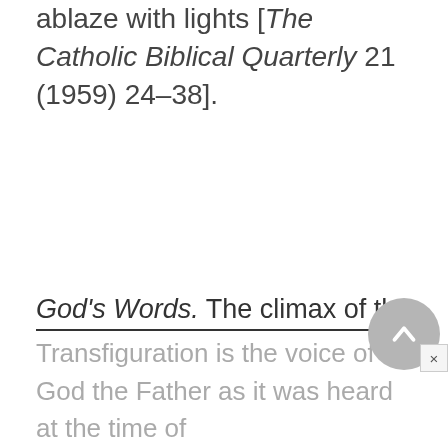ablaze with lights [The Catholic Biblical Quarterly 21 (1959) 24–38].
God's Words. The climax of the
Transfiguration is the voice of God the Father as it was heard at the time of